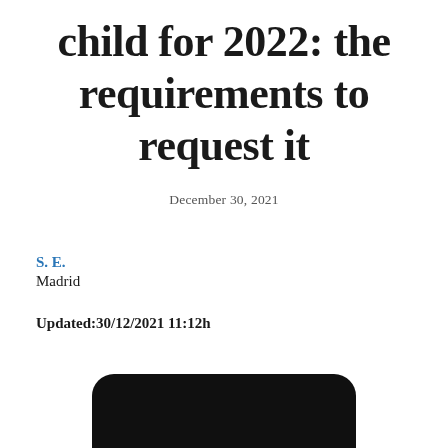child for 2022: the requirements to request it
December 30, 2021
S. E.
Madrid
Updated:30/12/2021 11:12h
[Figure (photo): Dark rounded rectangle shape at bottom of page, partially visible — appears to be the top portion of a dark device or banner graphic.]